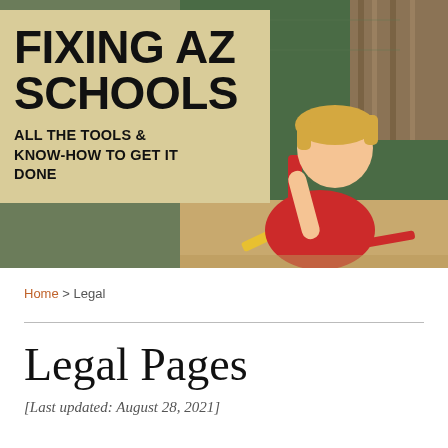[Figure (photo): Header banner image: a young boy in a red shirt holding a screwdriver at a workbench, with tools spread out, against a green chalkboard background. Overlaid with a tan/beige box containing the site title.]
FIXING AZ SCHOOLS
ALL THE TOOLS & KNOW-HOW TO GET IT DONE
Home > Legal
Legal Pages
[Last updated: August 28, 2021]